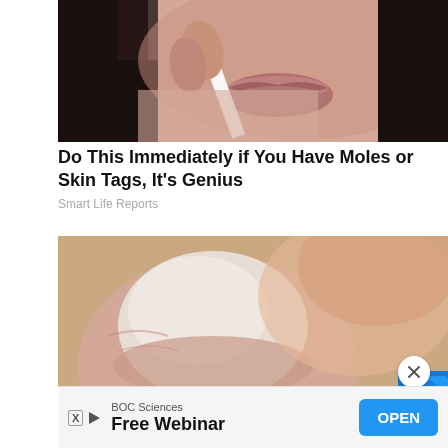[Figure (photo): Close-up photo of a young woman with dark hair holding a white strip near her face (skin tag or mole removal strip)]
Do This Immediately if You Have Moles or Skin Tags, It's Genius
Smart Life Reports
[Figure (photo): Extreme close-up photo of a fingernail or toenail being touched by a small blue object, on a warm brown background]
BOC Sciences
Free Webinar
OPEN